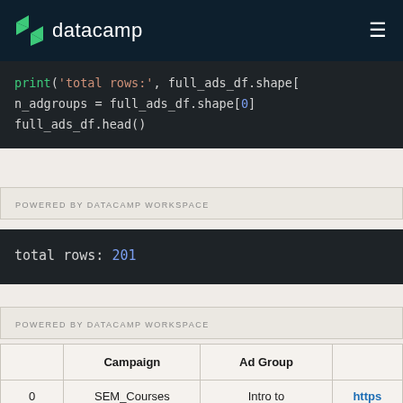datacamp
[Figure (screenshot): Code block showing: print('total rows:', full_ads_df.shape[, n_adgroups = full_ads_df.shape[0], full_ads_df.head()]
POWERED BY DATACAMP WORKSPACE
[Figure (screenshot): Output block showing: total rows: 201]
POWERED BY DATACAMP WORKSPACE
|  | Campaign | Ad Group |  |
| --- | --- | --- | --- |
| 0 | SEM_Courses | Intro to Python for Data | https pyth… |